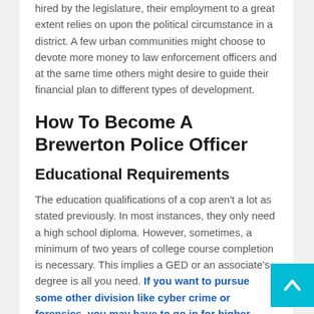hired by the legislature, their employment to a great extent relies on upon the political circumstance in a district. A few urban communities might choose to devote more money to law enforcement officers and at the same time others might desire to guide their financial plan to different types of development.
How To Become A Brewerton Police Officer
Educational Requirements
The education qualifications of a cop aren't a lot as stated previously. In most instances, they only need a high school diploma. However, sometimes, a minimum of two years of college course completion is necessary. This implies a GED or an associate's degree is all you need. If you want to pursue some other division like cyber crime or forensics, you may have to go in for higher education. To be assigned to the federal level, you must have a four-year college certificate. You will have a written test before entering the police